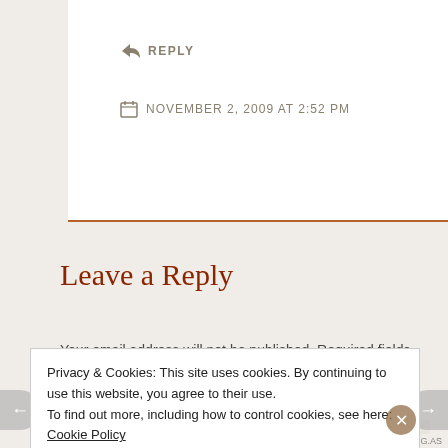↵ REPLY
📅 NOVEMBER 2, 2009 AT 2:52 PM
Leave a Reply
Your email address will not be published. Required fields are marked *
COMMENT
*
Privacy & Cookies: This site uses cookies. By continuing to use this website, you agree to their use.
To find out more, including how to control cookies, see here: Cookie Policy
Close and accept